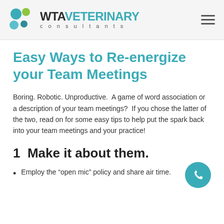WTA VETERINARY consultants
Easy Ways to Re-energize your Team Meetings
Boring. Robotic. Unproductive.  A game of word association or a description of your team meetings?  If you chose the latter of the two, read on for some easy tips to help put the spark back into your team meetings and your practice!
1  Make it about them.
Employ the “open mic” policy and share air time.